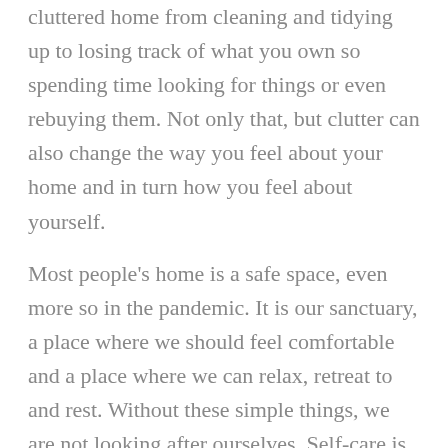cluttered home from cleaning and tidying up to losing track of what you own so spending time looking for things or even rebuying them. Not only that, but clutter can also change the way you feel about your home and in turn how you feel about yourself.
Most people's home is a safe space, even more so in the pandemic. It is our sanctuary, a place where we should feel comfortable and a place where we can relax, retreat to and rest. Without these simple things, we are not looking after ourselves. Self-care is more than just bubble baths and pamper nights once a month.
With this in mind we have spent lockdown decluttering our office space. We have found an old ipad  and desktop computer that we no longer use.